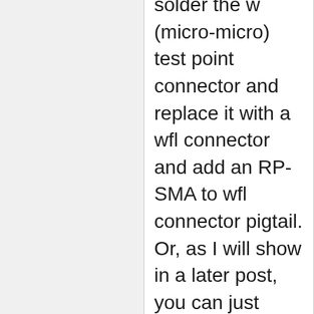solder the w (micro-micro) test point connector and replace it with a wfl connector and add an RP-SMA to wfl connector pigtail. Or, as I will show in a later post, you can just